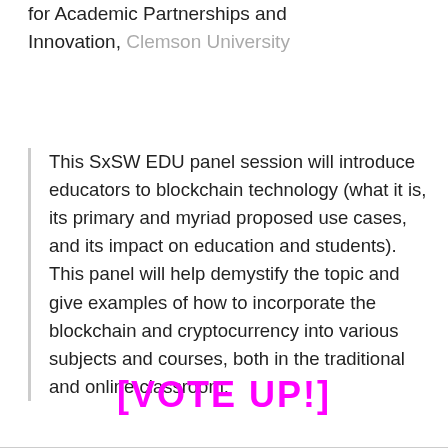for Academic Partnerships and Innovation, Clemson University
This SxSW EDU panel session will introduce educators to blockchain technology (what it is, its primary and myriad proposed use cases, and its impact on education and students). This panel will help demystify the topic and give examples of how to incorporate the blockchain and cryptocurrency into various subjects and courses, both in the traditional and online classroom.
[VOTE UP!]